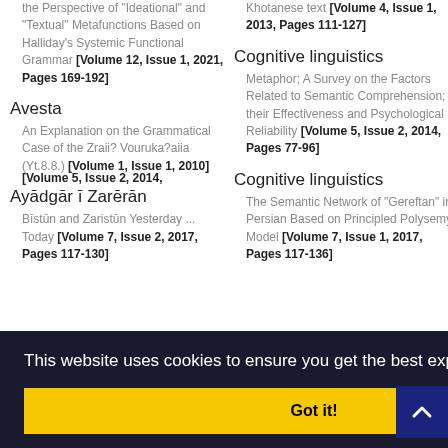the Perspective of "Ideational" and "Textual" Metafunctions Based on Halliday's Systemic Functional Grammar [Volume 12, Issue 1, 2021, Pages 169-192]
Avesta
An Explanation on the Grammatical Case of the Zraii? Vouruka?aiia (Yt.8.8.) [Volume 1, Issue 1, 2010]
Ayādgār ī Zarērān
Bīstūn and Zaristūn Yesterday ... Today [Volume 7, Issue 2, 2017, Pages 117-130]
Khotanese text [Volume 4, Issue 1, 2013, Pages 111-127]
Cognitive linguistics
Metaphor; A Survey on the Factors Related to Semantic Comprehension; their Effectiveness and Psychological Reliability [Volume 5, Issue 2, 2014, Pages 77-96]
Cognitive linguistics
The Semantic Network of "Gereftan" in Persian Based on Principled Polysemy Model [Volume 7, Issue 1, 2017, Pages 117-136]
nguistics
luctions in Persian om Goldberg's Grammar Volume 7, Issue es 39-57]
This website uses cookies to ensure you get the best experience on our website.
Got it!
nguistics
[Volume 5, Issue 2, 2014,
A Cognitive Study of the
[Figure (other): Back to top button — dark blue square with white upward-pointing chevron arrow]